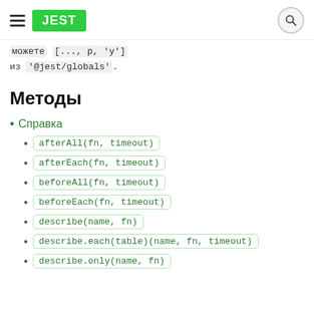JEST
можете [..., p, 'y'] из '@jest/globals'.
Методы
Справка
afterAll(fn, timeout)
afterEach(fn, timeout)
beforeAll(fn, timeout)
beforeEach(fn, timeout)
describe(name, fn)
describe.each(table)(name, fn, timeout)
describe.only(name, fn)